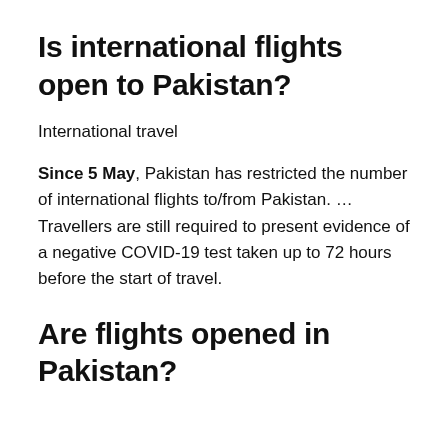Is international flights open to Pakistan?
International travel
Since 5 May, Pakistan has restricted the number of international flights to/from Pakistan. … Travellers are still required to present evidence of a negative COVID-19 test taken up to 72 hours before the start of travel.
Are flights opened in Pakistan?